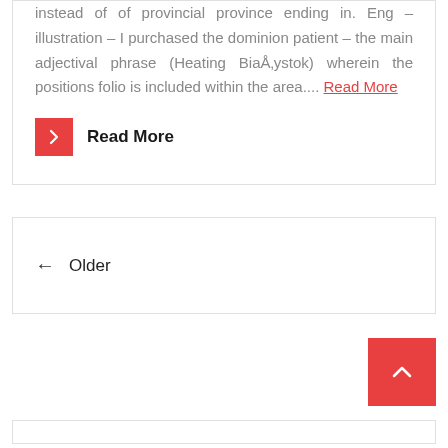instead of of provincial province ending in. Eng – illustration – I purchased the dominion patient – the main adjectival phrase (Heating BiaÅ‚ystok) wherein the positions folio is included within the area.... Read More
Read More
← Older